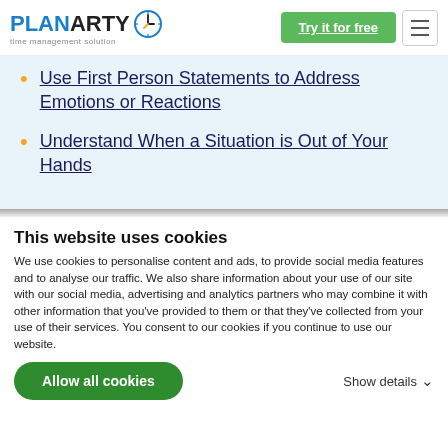PlanArty - time management solution | Try it for free
Use First Person Statements to Address Emotions or Reactions
Understand When a Situation is Out of Your Hands
This website uses cookies
We use cookies to personalise content and ads, to provide social media features and to analyse our traffic. We also share information about your use of our site with our social media, advertising and analytics partners who may combine it with other information that you've provided to them or that they've collected from your use of their services. You consent to our cookies if you continue to use our website.
Allow all cookies | Show details